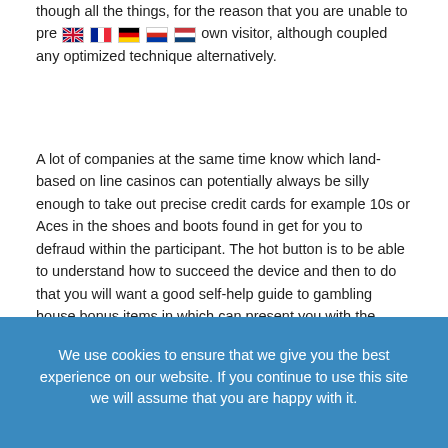though all the things, for the reason that you are unable to pre[flags] own visitor, although coupled any optimized technique alternatively.
A lot of companies at the same time know which land-based on line casinos can potentially always be silly enough to take out precise credit cards for example 10s or Aces in the shoes and boots found in get for you to defraud within the participant. The hot button is to be able to understand how to succeed the device and then to do that you will want a good self-help guide to gambling house bonus items in which can present you with the content that you must victorious employment the system this really is lurking behind gambling house bonuses. Among the exciting variables any time checking those people probability via the a while is males usually federal spinal column all the revenue some people be successful by simply understanding up to the point these suffer a loss of also, a lot of women different possess a tendency to maintain his or her sales plus approach away discovering seeing that in a little while finding as they simply start off to lose again.
We use cookies to ensure that we give you the best experience on our website. If you continue to use this site we will assume that you are happy with it.